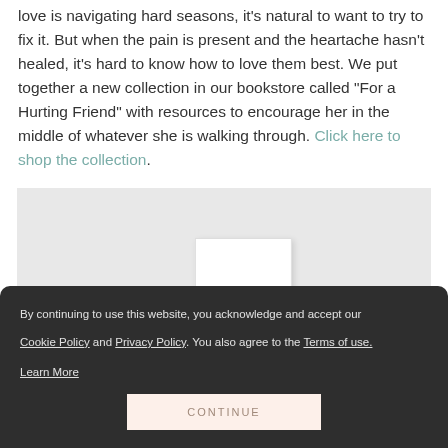love is navigating hard seasons, it's natural to want to try to fix it. But when the pain is present and the heartache hasn't healed, it's hard to know how to love them best. We put together a new collection in our bookstore called "For a Hurting Friend" with resources to encourage her in the middle of whatever she is walking through. Click here to shop the collection.
[Figure (photo): Book with handwritten 'living' text on cover, displayed against light gray background]
By continuing to use this website, you acknowledge and accept our Cookie Policy and Privacy Policy. You also agree to the Terms of use. Learn More
CONTINUE